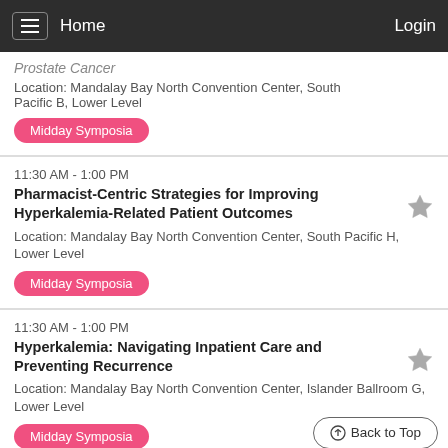Home | Login
Prostate Cancer
Location: Mandalay Bay North Convention Center, South Pacific B, Lower Level
Midday Symposia
11:30 AM - 1:00 PM
Pharmacist-Centric Strategies for Improving Hyperkalemia-Related Patient Outcomes
Location: Mandalay Bay North Convention Center, South Pacific H, Lower Level
Midday Symposia
11:30 AM - 1:00 PM
Hyperkalemia: Navigating Inpatient Care and Preventing Recurrence
Location: Mandalay Bay North Convention Center, Islander Ballroom G, Lower Level
Midday Symposia